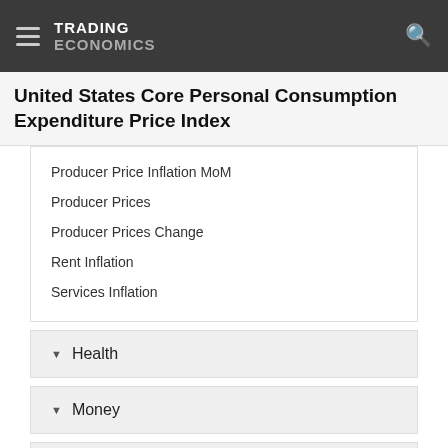TRADING ECONOMICS
United States Core Personal Consumption Expenditure Price Index
Producer Price Inflation MoM
Producer Prices
Producer Prices Change
Rent Inflation
Services Inflation
Health
Money
Trade
Government
Business